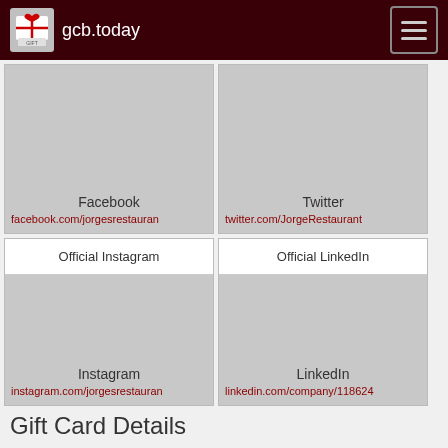gcb.today
[Figure (screenshot): Facebook social card with grey image area showing Facebook text and link facebook.com/jorgesrestauran]
[Figure (screenshot): Twitter social card with grey image area showing Twitter text and link twitter.com/JorgeRestaurant]
[Figure (screenshot): Official Instagram card with header bar and grey image showing Instagram and link instagram.com/jorgesrestauran]
[Figure (screenshot): Official LinkedIn card with header bar and grey image showing LinkedIn and link linkedin.com/company/118624]
Gift Card Details